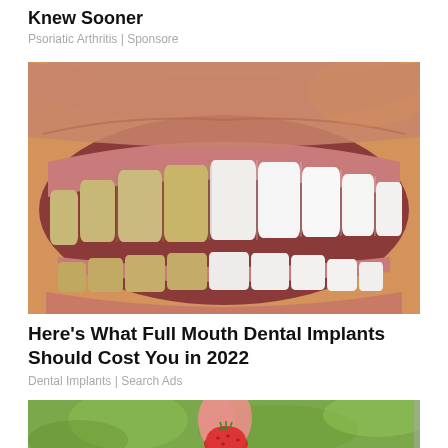Knew Sooner
Psoriatic Arthritis | Sponsore
[Figure (photo): Close-up photo of a person's smile showing a before-and-after comparison of teeth: the left side shows yellowish/stained teeth and the right side shows bright white veneered teeth.]
Here's What Full Mouth Dental Implants Should Cost You in 2022
Dental Implants | Search Ads
[Figure (photo): Partial bottom image showing a hand holding what appears to be a strawberry or red berry against a blurred green background.]